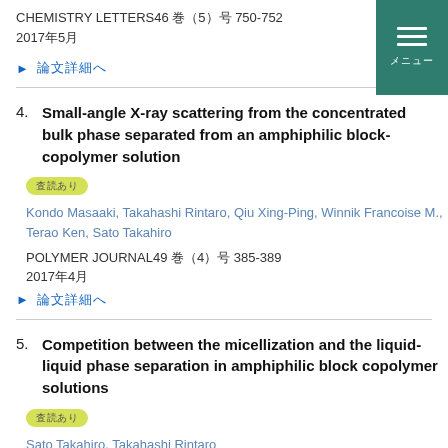CHEMISTRY LETTERS46 巻（5）号 750-752 2017年5月
▶ 論文詳細へ
4. Small-angle X-ray scattering from the concentrated bulk phase separated from an amphiphilic block-copolymer solution
査読あり
Kondo Masaaki, Takahashi Rintaro, Qiu Xing-Ping, Winnik Francoise M., Terao Ken, Sato Takahiro
POLYMER JOURNAL49 巻（4）号 385-389 2017年4月
▶ 論文詳細へ
5. Competition between the micellization and the liquid-liquid phase separation in amphiphilic block copolymer solutions
査読あり
Sato Takahiro, Takahashi Rintaro
POLYMER JOURNAL49 巻（2）　2017年2月